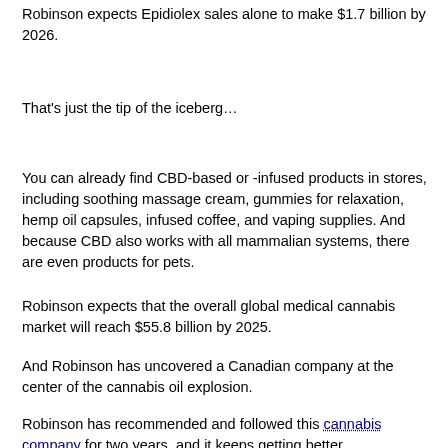Robinson expects Epidiolex sales alone to make $1.7 billion by 2026.
That's just the tip of the iceberg…
You can already find CBD-based or -infused products in stores, including soothing massage cream, gummies for relaxation, hemp oil capsules, infused coffee, and vaping supplies. And because CBD also works with all mammalian systems, there are even products for pets.
Robinson expects that the overall global medical cannabis market will reach $55.8 billion by 2025.
And Robinson has uncovered a Canadian company at the center of the cannabis oil explosion.
Robinson has recommended and followed this cannabis company for two years, and it keeps getting better.
On May 24, the company unlisted, and its shares are currently